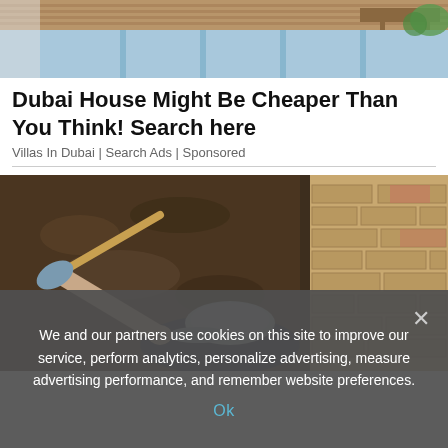[Figure (photo): Aerial view of a luxury house with a swimming pool and wooden terrace, with greenery visible]
Dubai House Might Be Cheaper Than You Think! Search here
Villas In Dubai | Search Ads | Sponsored
[Figure (photo): Person in a baseball cap digging with a shovel in soil next to a brick wall, viewed from above]
We and our partners use cookies on this site to improve our service, perform analytics, personalize advertising, measure advertising performance, and remember website preferences.
Ok